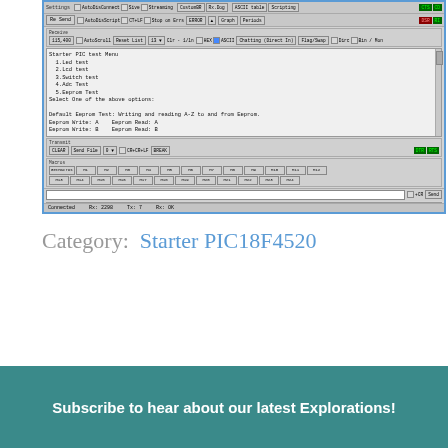[Figure (screenshot): Screenshot of a serial terminal application (likely RealTerm or similar) showing a Starter PIC18F4520 test menu with options: 1.Led test, 2.Lcd test, 3.Switch test, 4.Adc Test, 5.Eeprom Test. The terminal displays Eeprom test results showing writing and reading A-Z to and from Eeprom. The interface includes toolbars, macro buttons, status bar showing Connected, Rx:2298, Tx:7, Rx:OK.]
Category:  Starter PIC18F4520
Subscribe to hear about our latest Explorations!